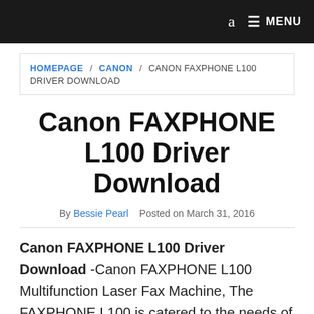a  MENU
HOMEPAGE / CANON / CANON FAXPHONE L100 DRIVER DOWNLOAD
Canon FAXPHONE L100 Driver Download
By Bessie Pearl   Posted on March 31, 2016
Canon FAXPHONE L100 Driver Download -Canon FAXPHONE L100 Multifunction Laser Fax Machine, The FAXPHONE L100 is catered to the needs of your home or small office and consolidates a laser fax machine, laser printer and digital copier into one durable machine. The L100 sports a stylish redesign and incorporates the latest fax capabilities, including a